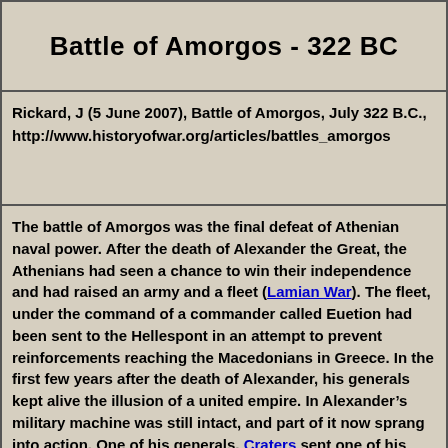Battle of Amorgos - 322 BC
Rickard, J (5 June 2007), Battle of Amorgos, July 322 B.C., http://www.historyofwar.org/articles/battles_amorgos
The battle of Amorgos was the final defeat of Athenian naval power. After the death of Alexander the Great, the Athenians had seen a chance to win their independence and had raised an army and a fleet (Lamian War). The fleet, under the command of a commander called Euetion had been sent to the Hellespont in an attempt to prevent reinforcements reaching the Macedonians in Greece. In the first few years after the death of Alexander, his generals kept alive the illusion of a united empire. In Alexander’s military machine was still intact, and part of it now sprang into action. One of his generals, Craterus sent one of his commanders, Cleitus, to take command